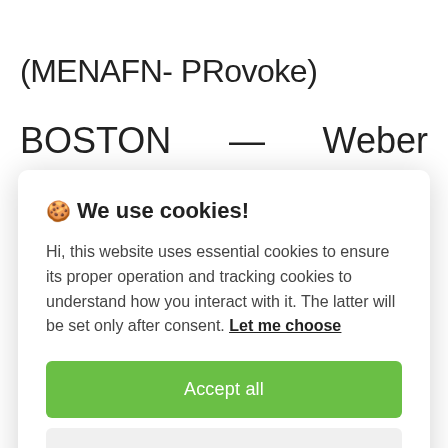(MENAFN- PRovoke)
BOSTON — Weber Shandwick has appointed Michael Byrnes general
🍪 We use cookies!
Hi, this website uses essential cookies to ensure its proper operation and tracking cookies to understand how you interact with it. The latter will be set only after consent. Let me choose
Accept all
Reject all